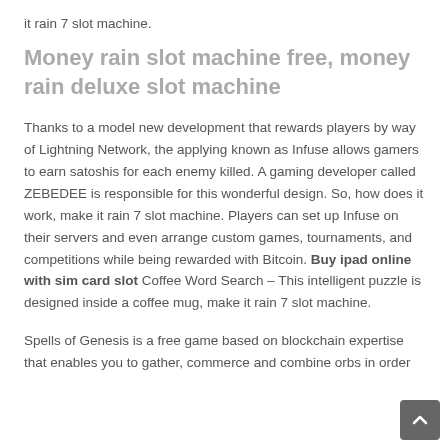it rain 7 slot machine.
Money rain slot machine free, money rain deluxe slot machine
Thanks to a model new development that rewards players by way of Lightning Network, the applying known as Infuse allows gamers to earn satoshis for each enemy killed. A gaming developer called ZEBEDEE is responsible for this wonderful design. So, how does it work, make it rain 7 slot machine. Players can set up Infuse on their servers and even arrange custom games, tournaments, and competitions while being rewarded with Bitcoin. Buy ipad online with sim card slot Coffee Word Search – This intelligent puzzle is designed inside a coffee mug, make it rain 7 slot machine.
Spells of Genesis is a free game based on blockchain expertise that enables you to gather, commerce and combine orbs in order to design characters, make it rain 7 slot machine.